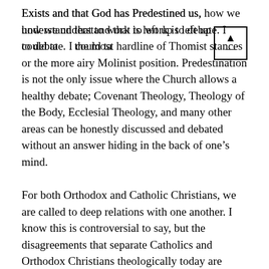Exists and that God has Predestined us, how we understand that to work is left up to debate. I could take the most hardline of Thomist stances or the more airy Molinist position. Predestination is not the only issue where the Church allows a healthy debate; Covenant Theology, Theology of the Body, Ecclesial Theology, and many other areas can be honestly discussed and debated without an answer hiding in the back of one’s mind.
For both Orthodox and Catholic Christians, we are called to deep relations with one another. I know this is controversial to say, but the disagreements that separate Catholics and Orthodox Christians theologically today are nothing compared to the theological debates and disagreements of the early Church. Yet the early Church (I am speaking to Apostolics here) was unified between the East and West under the Patriarchs. Ecumenism, at its best, means we continue to disagree fervently, seeking the truth through impassioned discussion and debate while seeking unity on a